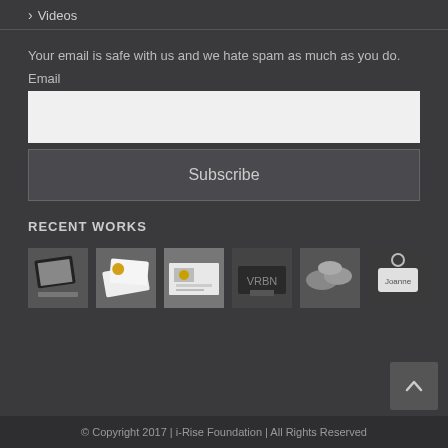Videos
Your email is safe with us and we hate spam as much as you do.
Email
RECENT WORKS
[Figure (photo): Six thumbnail images of recent works including tablet, business cards, printed materials, and keychains]
© Copyright 2017 | i-Rise Foundation | All Rights Reserved